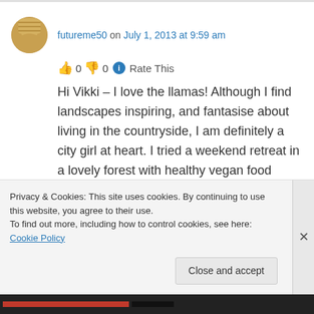futureme50 on July 1, 2013 at 9:59 am
👍 0 👎 0 ℹ Rate This
Hi Vikki – I love the llamas! Although I find landscapes inspiring, and fantasise about living in the countryside, I am definitely a city girl at heart. I tried a weekend retreat in a lovely forest with healthy vegan food once, tranquil and calm, but within 24 hours I was heading out in the car
Privacy & Cookies: This site uses cookies. By continuing to use this website, you agree to their use.
To find out more, including how to control cookies, see here: Cookie Policy
Close and accept